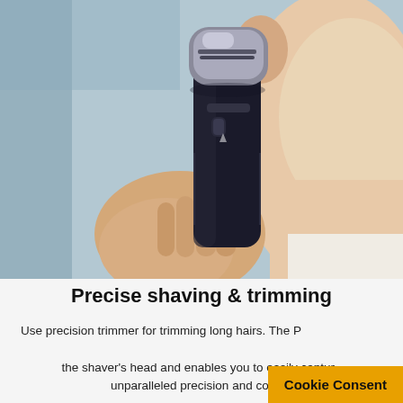[Figure (photo): Close-up of a man holding an electric shaver (black with silver chrome head) against his cheek/jaw area. The man's face is partially visible — ear, cheek, lips, chin. The shaver has a multi-blade rotating head. Background is light blue-grey.]
Precise shaving & trimming
Use precision trimmer for trimming long hairs. The Precision Switch locks the shaver's head and enables you to easily captur... unparalleled precision and contr...
Cookie Consent